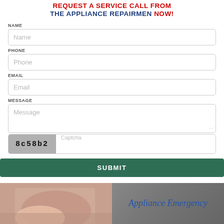REQUEST A SERVICE CALL FROM THE APPLIANCE REPAIRMEN NOW!
NAME
Name
PHONE
Phone
EMAIL
Email
MESSAGE
Message
8c58b2  Captcha
SUBMIT
[Figure (photo): Bottom banner showing two images side by side: left shows a person (skin visible, appliance repair context), right shows text 'Appliance Emergency' in blue italic font over a gray background]